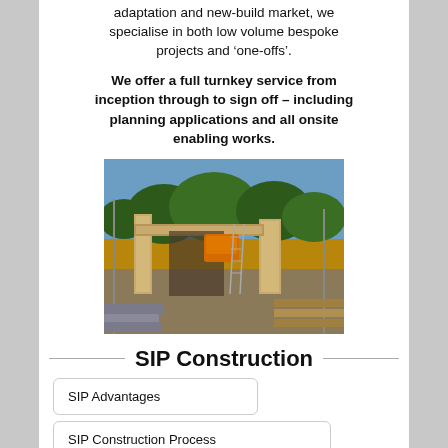adaptation and new-build market, we specialise in both low volume bespoke projects and ‘one-offs’.
We offer a full turnkey service from inception through to sign off – including planning applications and all onsite enabling works.
[Figure (photo): Construction site showing SIP (Structural Insulated Panel) wooden wall panels being erected on a concrete foundation, with trees in the background and construction materials in the foreground.]
SIP Construction
SIP Advantages
SIP Construction Process